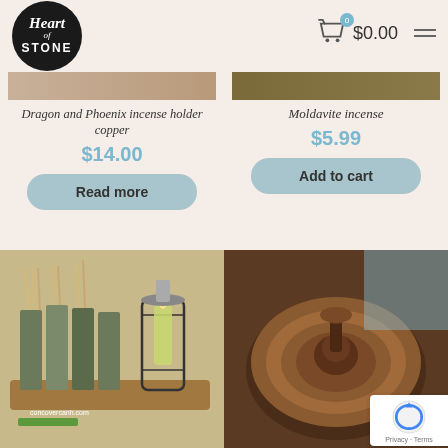[Figure (logo): Heart of Stone logo — black circle with white handwritten/script text]
$0.00
Dragon and Phoenix incense holder copper
$14.00
Read more
Moldavite incense
$5.99
Add to cart
[Figure (photo): Multiple incense stick packets displayed on a wooden tray with a lantern and candle]
[Figure (photo): Copper/bronze flower-shaped incense holder on a dark brown suede surface]
Privacy · Terms